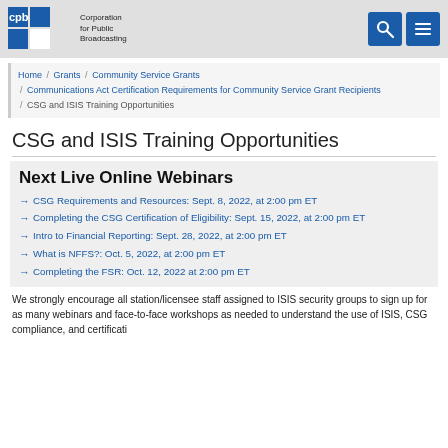CPB - Corporation for Public Broadcasting
Home / Grants / Community Service Grants / Communications Act Certification Requirements for Community Service Grant Recipients / CSG and ISIS Training Opportunities
CSG and ISIS Training Opportunities
Next Live Online Webinars
CSG Requirements and Resources: Sept. 8, 2022, at 2:00 pm ET
Completing the CSG Certification of Eligibility: Sept. 15, 2022, at 2:00 pm ET
Intro to Financial Reporting: Sept. 28, 2022, at 2:00 pm ET
What is NFFS?: Oct. 5, 2022, at 2:00 pm ET
Completing the FSR: Oct. 12, 2022 at 2:00 pm ET
We strongly encourage all station/licensee staff assigned to ISIS security groups to sign up for as many webinars and face-to-face workshops as needed to understand the use of ISIS, CSG compliance, and certification